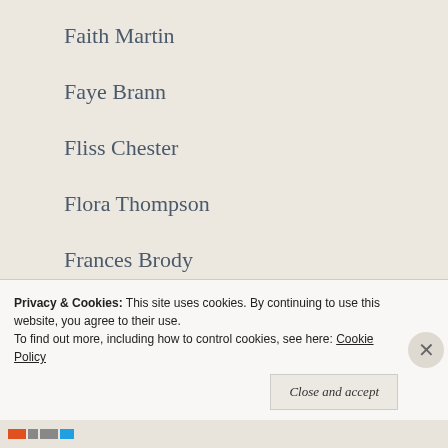Faith Martin
Faye Brann
Fliss Chester
Flora Thompson
Frances Brody
Frances Favell
Frances Ive
Frances McNeil
Frances Quinn
Frances Woodsford
Francesca Catlow
Francesca Scanacapra
Francesca Stanfill
Privacy & Cookies: This site uses cookies. By continuing to use this website, you agree to their use. To find out more, including how to control cookies, see here: Cookie Policy
Close and accept